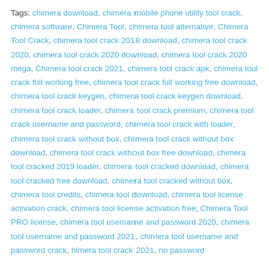Tags: chimera download, chimera mobile phone utility tool crack, chimera software, Chimera Tool, chimera tool alternative, Chimera Tool Crack, chimera tool crack 2018 download, chimera tool crack 2020, chimera tool crack 2020 download, chimera tool crack 2020 mega, Chimera tool crack 2021, chimera tool crack apk, chimera tool crack full working free, chimera tool crack full working free download, chimera tool crack keygen, chimera tool crack keygen download, chimera tool crack loader, chimera tool crack premium, chimera tool crack username and password, chimera tool crack with loader, chimera tool crack without box, chimera tool crack without box download, chimera tool crack without box free download, chimera tool cracked 2019 loader, chimera tool cracked download, chimera tool cracked free download, chimera tool cracked without box, chimera tool credits, chimera tool download, chimera tool license activation crack, chimera tool license activation free, Chimera Tool PRO license, chimera tool username and password 2020, chimera tool username and password 2021, chimera tool username and password crack, himera tool crack 2021, no password